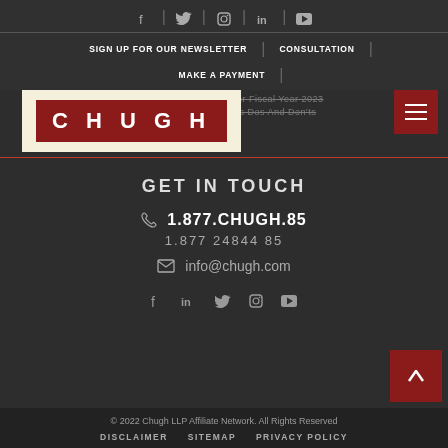Social icons row: f | twitter | instagram | in | youtube
SIGN UP FOR OUR NEWSLETTER | CONSULTATION
MAKE A PAYMENT
H-1B Cap For Fiscal Year 2023 (strikethrough)
[Figure (logo): Chugh LLP logo - red background with white text CHUGH]
& Contracts Dos And Don'ts (strikethrough)
GET IN TOUCH
1.877.CHUGH.85
1.877  24844  85
info@chugh.com
Social icons: f | in | twitter | instagram | youtube
© 2022 Chugh LLP Affiliate Network. All Rights Reserved
DISCLAIMER   SITEMAP   PRIVACY POLICY